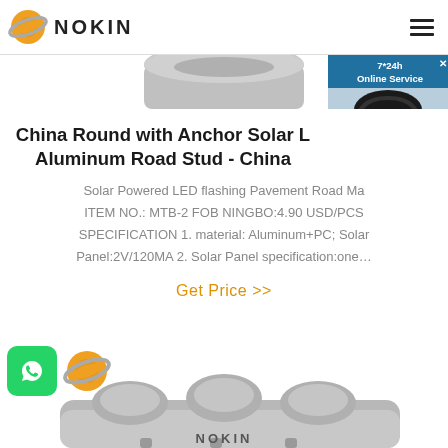NOKIN
[Figure (photo): Bottom of a silver/gray solar road stud product, partially visible at top of page]
China Round with Anchor Solar L... Aluminum Road Stud - China
Solar Powered LED flashing Pavement Road Ma... ITEM NO.: MTB-2 FOB NINGBO:4.90 USD/PCS SPECIFICATION 1. material: Aluminum+PC; Solar Panel:2V/120MA 2. Solar Panel specification:one...
Get Price >>
[Figure (photo): Gray multi-dome solar road stud product with NOKIN logo below, bottom of page]
[Figure (other): 7*24h Online Service chat widget with customer service representative photo and Chat Now button]